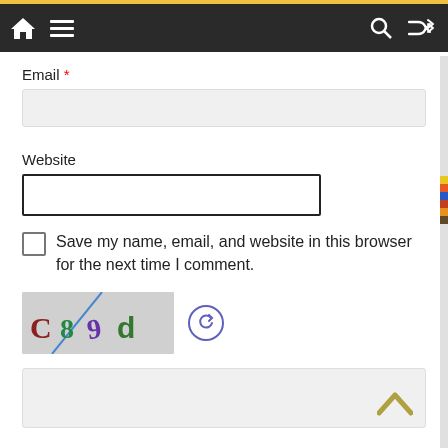Navigation bar with home, menu, search, and shuffle icons
Email *
[Figure (screenshot): Empty email input field with light gray background]
Website
[Figure (screenshot): Empty website input field with dark border]
Save my name, email, and website in this browser for the next time I comment.
[Figure (screenshot): CAPTCHA image showing characters C8 9 d with refresh button]
[Figure (screenshot): Bottom text area input with light gray background and upward chevron arrow]